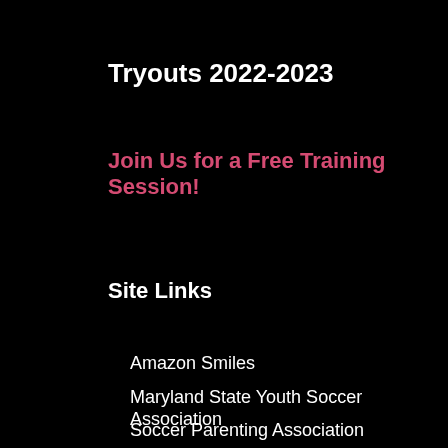Tryouts 2022-2023
Join Us for a Free Training Session!
Site Links
Amazon Smiles
Maryland State Youth Soccer Association
Soccer Parenting Association
United Soccer Coaches
United States Soccer Association